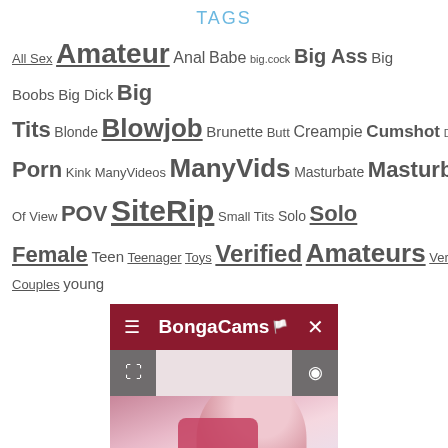TAGS
All Sex Amateur Anal Babe big.cock Big Ass Big Boobs Big Dick Big Tits Blonde Blowjob Brunette Butt Creampie Cumshot Deepthroat Doggystyle Exclusive Feet female.orgasm Femdom Fetish handjob Hardcore Hd Porn Kink ManyVideos ManyVids Masturbate Masturbation Milf MIX Petite Point Of View POV SiteRip Small Tits Solo Solo Female Teen Teenager Toys Verified Amateurs Verified Couples young
[Figure (screenshot): BongaCams website screenshot with dark red header bar showing hamburger menu, BongaCams logo, and close button, plus camera controls and a partially visible woman in pink top]